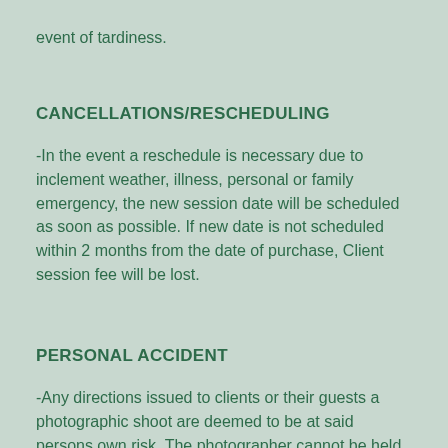event of tardiness.
CANCELLATIONS/RESCHEDULING
-In the event a reschedule is necessary due to inclement weather, illness, personal or family emergency, the new session date will be scheduled as soon as possible. If new date is not scheduled within 2 months from the date of purchase, Client session fee will be lost.
PERSONAL ACCIDENT
-Any directions issued to clients or their guests a photographic shoot are deemed to be at said persons own risk. The photographer cannot be held responsible for any personal